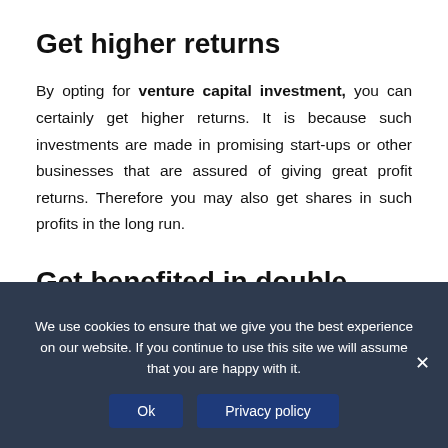Get higher returns
By opting for venture capital investment, you can certainly get higher returns. It is because such investments are made in promising start-ups or other businesses that are assured of giving great profit returns. Therefore you may also get shares in such profits in the long run.
Get benefited in double manners
Since you are making investment in venture capital through some firms or other sources therefore you get
We use cookies to ensure that we give you the best experience on our website. If you continue to use this site we will assume that you are happy with it.
Ok
Privacy policy